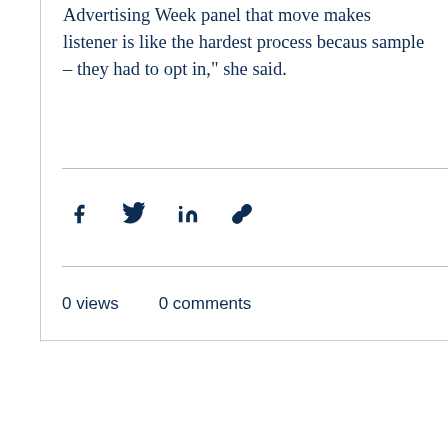Advertising Week panel that move makes listener is like the hardest process because sample – they had to opt in," she said.
0 views  0 comments